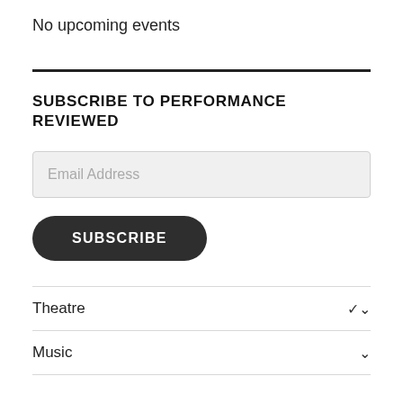No upcoming events
SUBSCRIBE TO PERFORMANCE REVIEWED
Email Address
SUBSCRIBE
Theatre
Music